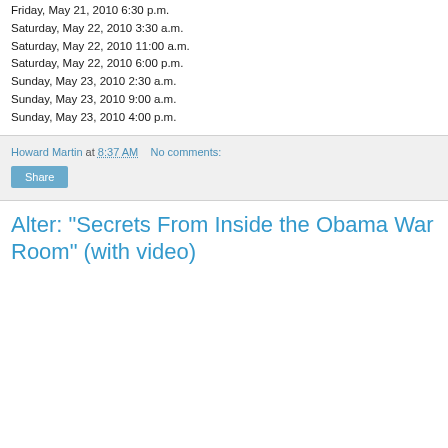Friday, May 21, 2010 6:30 p.m.
Saturday, May 22, 2010 3:30 a.m.
Saturday, May 22, 2010 11:00 a.m.
Saturday, May 22, 2010 6:00 p.m.
Sunday, May 23, 2010 2:30 a.m.
Sunday, May 23, 2010 9:00 a.m.
Sunday, May 23, 2010 4:00 p.m.
Howard Martin at 8:37 AM   No comments:
Alter: "Secrets From Inside the Obama War Room" (with video)